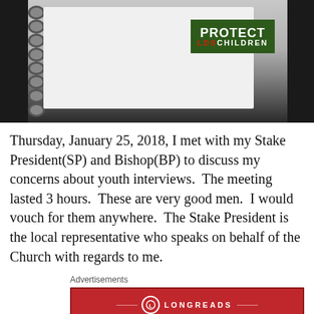[Figure (photo): A spiral-bound notebook with a green 'Protect LDS Children' logo sticker on the cover, resting on a dark surface.]
Thursday, January 25, 2018, I met with my Stake President(SP) and Bishop(BP) to discuss my concerns about youth interviews.  The meeting lasted 3 hours.  These are very good men.  I would vouch for them anywhere.  The Stake President is the local representative who speaks on behalf of the Church with regards to me.
Advertisements
[Figure (other): Longreads advertisement banner: red background with Longreads logo and text 'The best stories on the web — ours, and everyone else's.']
At the outset, I asked if they were recording the